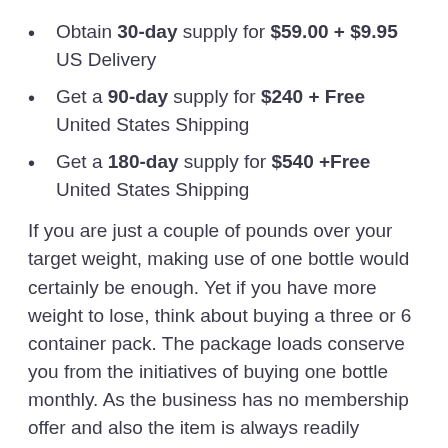Obtain 30-day supply for $59.00 + $9.95 US Delivery
Get a 90-day supply for $240 + Free United States Shipping
Get a 180-day supply for $540 +Free United States Shipping
If you are just a couple of pounds over your target weight, making use of one bottle would certainly be enough. Yet if you have more weight to lose, think about buying a three or 6 container pack. The package loads conserve you from the initiatives of buying one bottle monthly. As the business has no membership offer and also the item is always readily available in restricted stock, a bundle pack